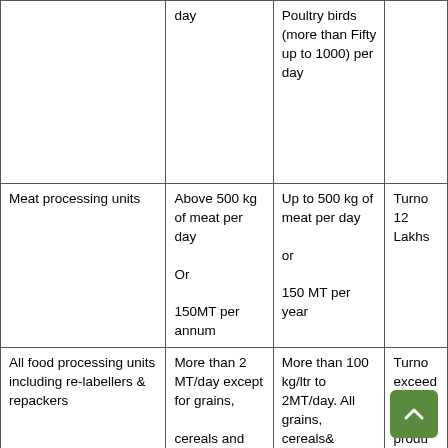| Category | Large/Medium (State/Central Licence) | Small (Registration) | Turnover/Other criteria |
| --- | --- | --- | --- |
|  | day | Poultry birds (more than Fifty up to 1000) per day |  |
| Meat processing units | Above 500 kg of meat per day

Or

150MT per annum | Up to 500 kg of meat per day

or

150 MT per year | Turno 12 Lakhs |
| All food processing units including re-labellers & repackers | More than 2 MT/day except for grains,

cereals and pulses milling units. | More than 100 kg/ltr to 2MT/day. All grains, cereals& pulses milling units. | Turno exceed Lakhs whos produ capac does |